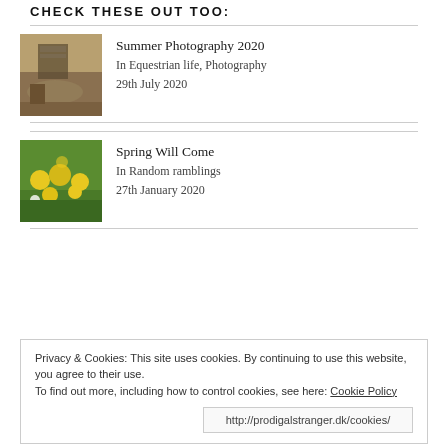CHECK THESE OUT TOO:
[Figure (photo): Thumbnail photo for Summer Photography 2020 blog post showing a rustic scene with hay/straw and wooden structure]
Summer Photography 2020
In Equestrian life, Photography
29th July 2020
[Figure (photo): Thumbnail photo for Spring Will Come blog post showing yellow dandelion flowers on green grass]
Spring Will Come
In Random ramblings
27th January 2020
Privacy & Cookies: This site uses cookies. By continuing to use this website, you agree to their use.
To find out more, including how to control cookies, see here: Cookie Policy
http://prodigalstranger.dk/cookies/